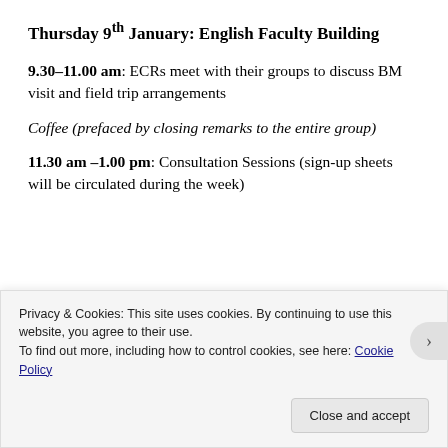Thursday 9th January: English Faculty Building
9.30–11.00 am: ECRs meet with their groups to discuss BM visit and field trip arrangements
Coffee (prefaced by closing remarks to the entire group)
11.30 am –1.00 pm: Consultation Sessions (sign-up sheets will be circulated during the week)
[Figure (logo): University logo with blue and gold arc design]
Privacy & Cookies: This site uses cookies. By continuing to use this website, you agree to their use. To find out more, including how to control cookies, see here: Cookie Policy
Close and accept